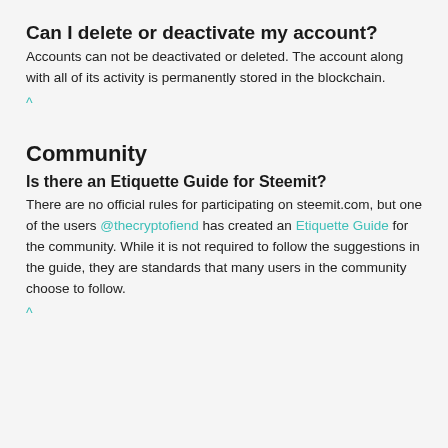Can I delete or deactivate my account?
Accounts can not be deactivated or deleted. The account along with all of its activity is permanently stored in the blockchain.
^
Community
Is there an Etiquette Guide for Steemit?
There are no official rules for participating on steemit.com, but one of the users @thecryptofiend has created an Etiquette Guide for the community. While it is not required to follow the suggestions in the guide, they are standards that many users in the community choose to follow.
^